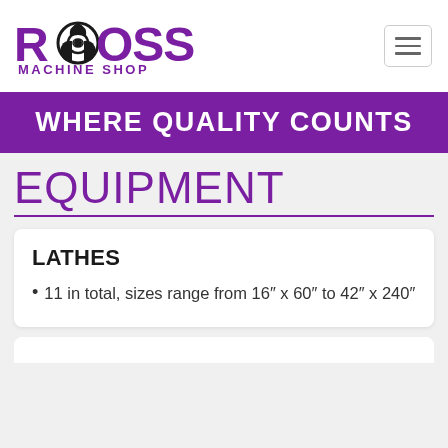[Figure (logo): Ross Machine Shop logo: purple text 'ROSS' with gear/rotor icon, and 'MACHINE SHOP' below]
WHERE QUALITY COUNTS
EQUIPMENT
LATHES
11 in total, sizes range from 16″ x 60″ to 42″ x 240″